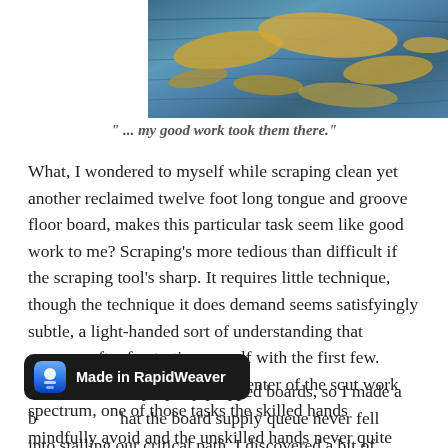[Figure (photo): Close-up photo of a reclaimed wood floor board with blue and gold paint or finish, showing texture and grain]
" ... my good work took them there."
What, I wondered to myself while scraping clean yet another reclaimed twelve foot long tongue and groove floor board, makes this particular task seem like good work to me? Scraping's more tedious than difficult if the scraping tool's sharp. It requires little technique, though the technique it does demand seems satisfyingly subtle, a light-handed sort of understanding that emerges after frustrating myself with the first few. Scraping stands solidly in the center of the scut work spectrum, one of those tasks the skilled hands mindfully avoid and the unskilled hands never quite manage to notice that needs doing. I saw that the floor laying utterly d...properly prepped boards, so I made a b...hat the board supply queue never fell into stalling our critical path. I discovered a bit of identity in this
[Figure (screenshot): Made in RapidWeaver badge overlay — dark rounded rectangle with RapidWeaver app icon and text 'Made in RapidWeaver']